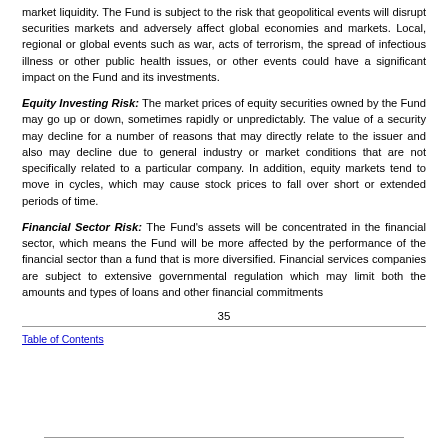market liquidity. The Fund is subject to the risk that geopolitical events will disrupt securities markets and adversely affect global economies and markets. Local, regional or global events such as war, acts of terrorism, the spread of infectious illness or other public health issues, or other events could have a significant impact on the Fund and its investments.
Equity Investing Risk: The market prices of equity securities owned by the Fund may go up or down, sometimes rapidly or unpredictably. The value of a security may decline for a number of reasons that may directly relate to the issuer and also may decline due to general industry or market conditions that are not specifically related to a particular company. In addition, equity markets tend to move in cycles, which may cause stock prices to fall over short or extended periods of time.
Financial Sector Risk: The Fund's assets will be concentrated in the financial sector, which means the Fund will be more affected by the performance of the financial sector than a fund that is more diversified. Financial services companies are subject to extensive governmental regulation which may limit both the amounts and types of loans and other financial commitments
35